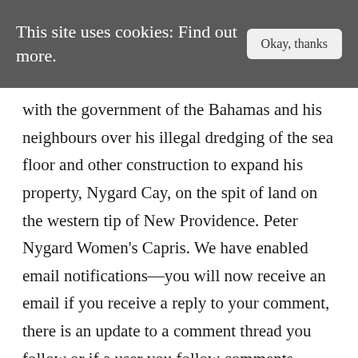This site uses cookies: Find out more.
with the government of the Bahamas and his neighbours over his illegal dredging of the sea floor and other construction to expand his property, Nygard Cay, on the spit of land on the western tip of New Providence. Peter Nygard Women's Capris. We have enabled email notifications—you will now receive an email if you receive a reply to your comment, there is an update to a comment thread you follow or if a user you follow comments. Peter Nygard | XL $40. Peter Nygard Capris & Cropped Pants in San Francisco. PETER NYGARD ... Oct 10, 2018 · Shop Women's Peter Nygard Black size M